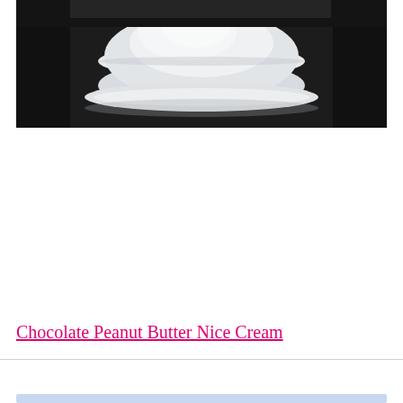[Figure (photo): A white bowl or mortar containing a light-colored creamy substance (nice cream), photographed on a dark background. The bowl is white and sits on a white surface or saucer. The image is slightly blurred/defocused.]
Chocolate Peanut Butter Nice Cream